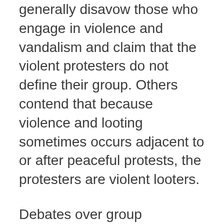generally disavow those who engage in violence and vandalism and claim that the violent protesters do not define their group. Others contend that because violence and looting sometimes occurs adjacent to or after peaceful protests, the protesters are violent looters.
Debates over group membership need not be fallacious. If a principled argument is given to support the exclusion, then this fallacy is not committed. For example, if a (fictional) 2nd amendment rights organization “Anti-Racists for Gun Rights”(ARGR) was accused of being racist because people at their protest displayed racist symbols, showing that none